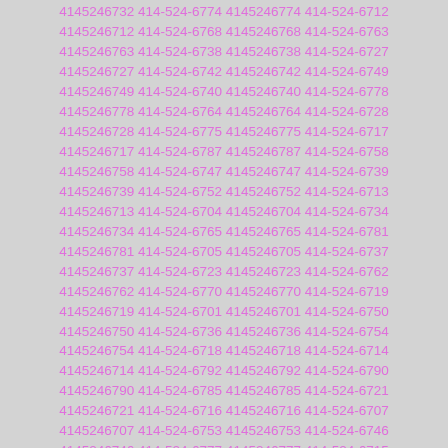4145246732 414-524-6774 4145246774 414-524-6712 4145246712 414-524-6768 4145246768 414-524-6763 4145246763 414-524-6738 4145246738 414-524-6727 4145246727 414-524-6742 4145246742 414-524-6749 4145246749 414-524-6740 4145246740 414-524-6778 4145246778 414-524-6764 4145246764 414-524-6728 4145246728 414-524-6775 4145246775 414-524-6717 4145246717 414-524-6787 4145246787 414-524-6758 4145246758 414-524-6747 4145246747 414-524-6739 4145246739 414-524-6752 4145246752 414-524-6713 4145246713 414-524-6704 4145246704 414-524-6734 4145246734 414-524-6765 4145246765 414-524-6781 4145246781 414-524-6705 4145246705 414-524-6737 4145246737 414-524-6723 4145246723 414-524-6762 4145246762 414-524-6770 4145246770 414-524-6719 4145246719 414-524-6701 4145246701 414-524-6750 4145246750 414-524-6736 4145246736 414-524-6754 4145246754 414-524-6718 4145246718 414-524-6714 4145246714 414-524-6792 4145246792 414-524-6790 4145246790 414-524-6785 4145246785 414-524-6721 4145246721 414-524-6716 4145246716 414-524-6707 4145246707 414-524-6753 4145246753 414-524-6746 4145246746 414-524-6777 4145246777 414-524-6715 4145246715 414-524-6783 4145246783 414-524-6755 4145246755 414-524-6763 4145246763 414-524-6760